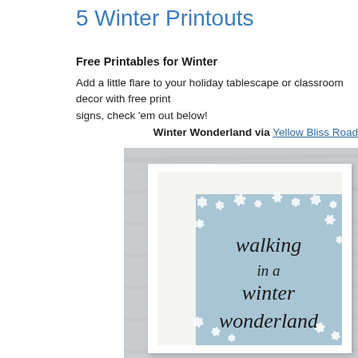5 Winter Printouts
Free Printables for Winter
Add a little flare to your holiday tablescape or classroom decor with free print signs, check 'em out below!
Winter Wonderland via Yellow Bliss Road
[Figure (photo): A framed art print with a light blue background featuring white snowflake/dandelion motifs and cursive text reading 'walking in a winter wonderland', displayed in a white picture frame with mat.]